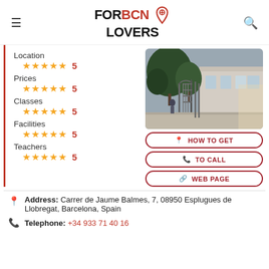FOR BCN LOVERS
Location ★★★★★ 5
Prices ★★★★★ 5
Classes ★★★★★ 5
Facilities ★★★★★ 5
Teachers ★★★★★ 5
[Figure (photo): Outdoor photo showing ornate iron gate entrance with trees and a building in the background]
HOW TO GET
TO CALL
WEB PAGE
Address: Carrer de Jaume Balmes, 7, 08950 Esplugues de Llobregat, Barcelona, Spain
Telephone: +34 933 71 40 16